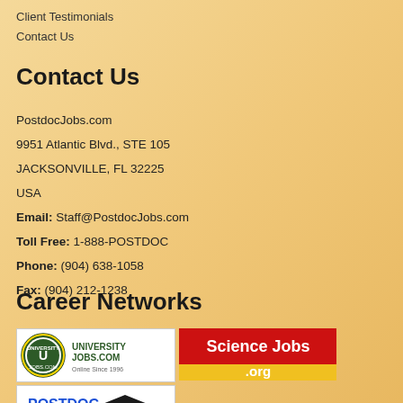Client Testimonials
Contact Us
Contact Us
PostdocJobs.com
9951 Atlantic Blvd., STE 105
JACKSONVILLE, FL 32225
USA
Email: Staff@PostdocJobs.com
Toll Free: 1-888-POSTDOC
Phone: (904) 638-1058
Fax: (904) 212-1238
Career Networks
[Figure (logo): UniversityJobs.com logo - circular U emblem with text UNIVERSITY JOBS.COM Online Since 1996]
[Figure (logo): ScienceJobs.org logo - red background with yellow bar, white text Science Jobs .org]
[Figure (logo): PostdocJobs logo - blue and red text POSTDOC JOBS with graduation cap icon]